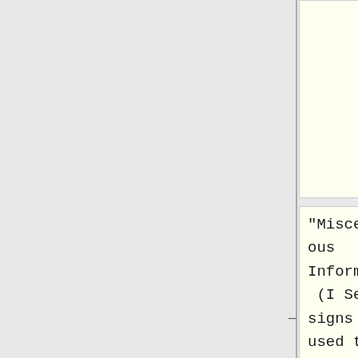aphic Information Signs.png|center]]<br><br>
"Miscellaneous Information" (I Series) signs are used to point out geographical features, such as rivers and summits, and other jurisdictional boundaries